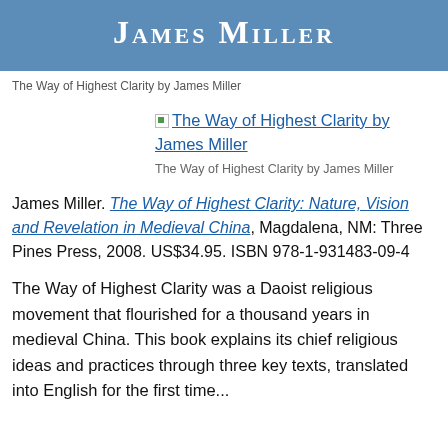James Miller
The Way of Highest Clarity by James Miller
[Figure (illustration): Broken image placeholder with link text: The Way of Highest Clarity by James Miller]
The Way of Highest Clarity by James Miller
James Miller. The Way of Highest Clarity: Nature, Vision and Revelation in Medieval China, Magdalena, NM: Three Pines Press, 2008. US$34.95. ISBN 978-1-931483-09-4
The Way of Highest Clarity was a Daoist religious movement that flourished for a thousand years in medieval China. This book explains its chief religious ideas and practices through three key texts, translated into English for the first time...